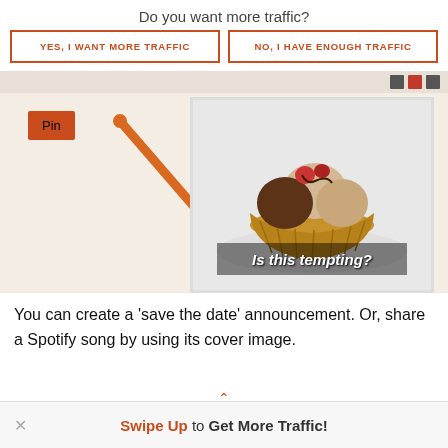Do you want more traffic?
YES, I WANT MORE TRAFFIC
NO, I HAVE ENOUGH TRAFFIC
[Figure (screenshot): Screenshot of a webpage showing a 'Pin' button with an orange arrow pointing to an image of ice cream in a waffle bowl with text 'Is this tempting?' overlaid]
You can create a 'save the date' announcement. Or, share a Spotify song by using its cover image.
Swipe Up to Get More Traffic!